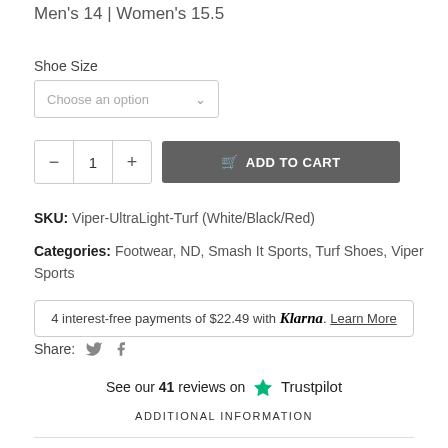Men's 14 | Women's 15.5
Shoe Size
Choose an option
1  ADD TO CART
SKU: Viper-UltraLight-Turf (White/Black/Red)
Categories: Footwear, ND, Smash It Sports, Turf Shoes, Viper Sports
4 interest-free payments of $22.49 with Klarna. Learn More
Share:
See our 41 reviews on Trustpilot
ADDITIONAL INFORMATION